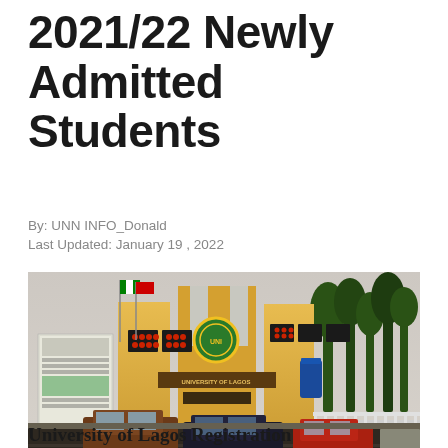2021/22 Newly Admitted Students
By: UNN INFO_Donald
Last Updated: January 19, 2022
[Figure (photo): University of Lagos entrance gate with yellow building structure displaying the university logo, flags, digital scoreboards, palm trees, and vehicles in the foreground]
University of Lagos Registration